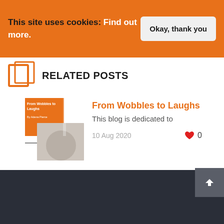This site uses cookies: Find out more.
Okay, thank you
RELATED POSTS
From Wobbles to Laughs
This blog is dedicated to
10 Aug 2020
0